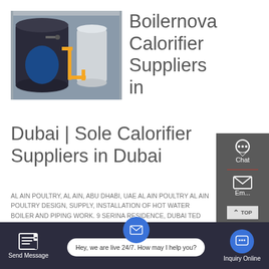[Figure (photo): Industrial boiler/calorifier equipment in a factory or plant setting, with blue cylindrical tanks and yellow gas piping]
Boilernova Calorifier Suppliers in Dubai | Sole Calorifier Suppliers in Dubai
AL AIN POULTRY, AL AIN, ABU DHABI, UAE AL AIN POULTRY AL AIN POULTRY DESIGN, SUPPLY, INSTALLATION OF HOT WATER BOILER AND PIPING WORK. 9 SERINA RESIDENCE, DUBAI TED JACOB / KHANSAHEB / Olympic Pool SERENEA
GET A QUOTE
Chat
Email
TOP
Contact
Send Message
Hey, we are live 24/7. How may I help you?
Inquiry Online